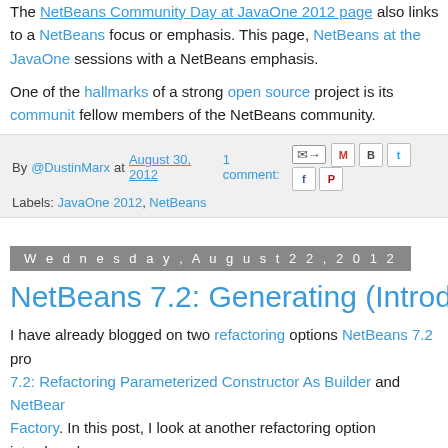The NetBeans Community Day at JavaOne 2012 page also links to a NetBeans focus or emphasis. This page, NetBeans at the JavaOne sessions with a NetBeans emphasis.
One of the hallmarks of a strong open source project is its community fellow members of the NetBeans community.
By @DustinMarx at August 30, 2012  1 comment:  [icons] Labels: JavaOne 2012, NetBeans
Wednesday, August 22, 2012
NetBeans 7.2: Generating (Introduce) Lo...
I have already blogged on two refactoring options NetBeans 7.2 provides: NetBeans 7.2: Refactoring Parameterized Constructor As Builder and NetBeans Factory. In this post, I look at another refactoring option introduced with time-saving of them all: Introduce Local Extension.
Martin Fowler's Refactoring Home Page includes a "catalog of comm... Local Extension refactoring. This particular refactoring is described on issue and the solution), "[Issue] A server class you are using needs modify the class. [Solution] Create a new class that contains these e